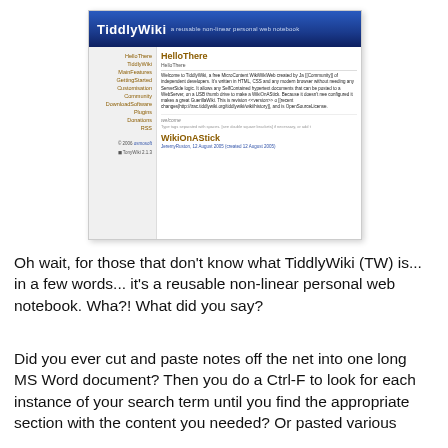[Figure (screenshot): Screenshot of TiddlyWiki website showing the header with 'TiddlyWiki a reusable non-linear personal web notebook', a sidebar with navigation links (HelloThere, TiddlyWiki, MainFeatures, GettingStarted, Customisation, Community, DownloadSoftware, Plugins, Donations, RSS, copyright 2006 osmosoft, TonyWiki 2.1.3), and main content area showing HelloThere tiddler and WikiOnAStick tiddler.]
Oh wait, for those that don't know what TiddlyWiki (TW) is... in a few words... it's a reusable non-linear personal web notebook. Wha?! What did you say?
Did you ever cut and paste notes off the net into one long MS Word document? Then you do a Ctrl-F to look for each instance of your search term until you find the appropriate section with the content you needed? Or pasted various